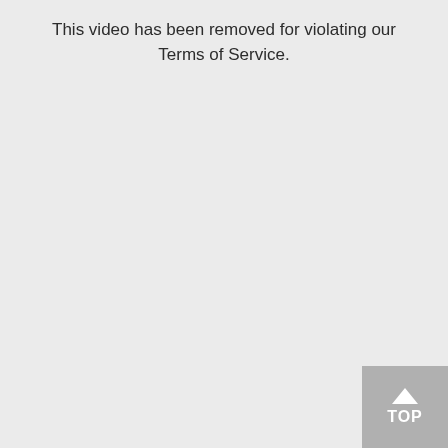This video has been removed for violating our Terms of Service.
[Figure (other): A grey square button with an upward arrow and the text TOP in white, positioned in the bottom-right corner of the page.]